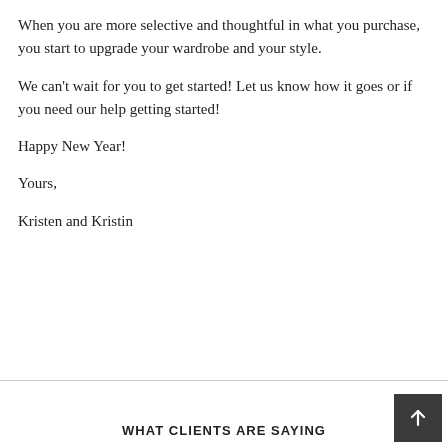When you are more selective and thoughtful in what you purchase, you start to upgrade your wardrobe and your style.
We can't wait for you to get started! Let us know how it goes or if you need our help getting started!
Happy New Year!
Yours,
Kristen and Kristin
WHAT CLIENTS ARE SAYING